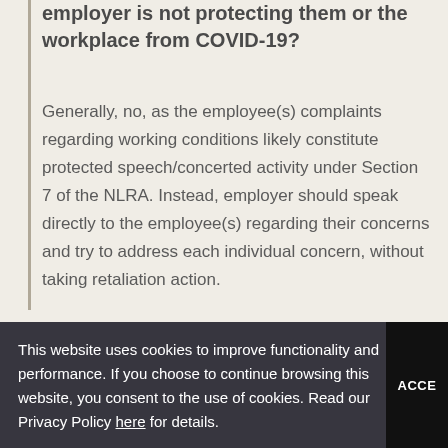employer is not protecting them or the workplace from COVID-19?
Generally, no, as the employee(s) complaints regarding working conditions likely constitute protected speech/concerted activity under Section 7 of the NLRA. Instead, employer should speak directly to the employee(s) regarding their concerns and try to address each individual concern, without taking retaliation action.
This website uses cookies to improve functionality and performance. If you choose to continue browsing this website, you consent to the use of cookies. Read our Privacy Policy here for details.